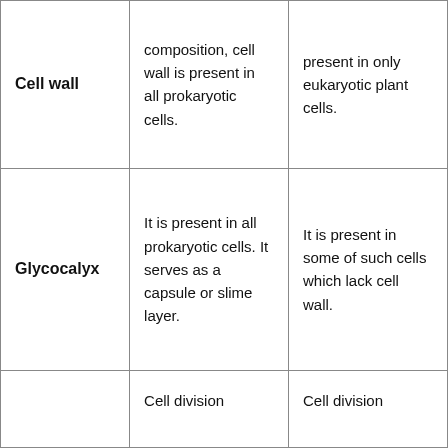| Cell wall | composition, cell wall is present in all prokaryotic cells. | present in only eukaryotic plant cells. |
| Glycocalyx | It is present in all prokaryotic cells. It serves as a capsule or slime layer. | It is present in some of such cells which lack cell wall. |
|  | Cell division | Cell division |